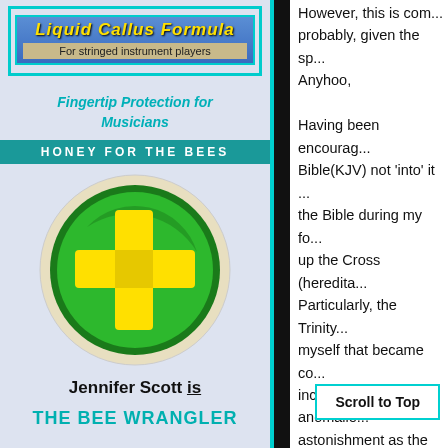[Figure (logo): Liquid Callus Formula product banner with title and subtitle 'For stringed instrument players']
Fingertip Protection for Musicians
HONEY FOR THE BEES
[Figure (logo): Green circle with yellow plus/cross sign logo]
Jennifer Scott is
THE BEE WRANGLER
However, this is com... probably, given the sp... Anyhoo,

Having been encourga... Bible(KJV) not 'into' it ... the Bible during my fo... up the Cross (heredita... Particularly, the Trinity... myself that became co... incongruous anomalie... astonishment as the 'C... references to The Holy... the Christian scripture... any reference to 'The ... Christians are not - W... the Trinity that is 'anak... mani...
Scroll to Top